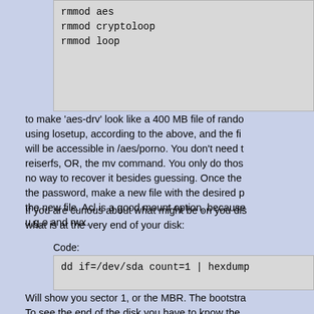rmmod aes
rmmod cryptoloop
rmmod loop
to make 'aes-drv' look like a 400 MB file of rando... using losetup, according to the above, and the fi... will be accessible in /aes/porno. You don't need t... reiserfs, OR, the mv command. You only do thos... no way to recover it besides guessing. Once the ... the password, make a new file with the desired p... the new file. Acl is a good mount option, because... u,g,o and rwx.
If you are curious about what might be on you dis... what is at the very end of your disk:
Code:
dd if=/dev/sda count=1 | hexdump
Will show you sector 1, or the MBR. The bootstra... To see the end of the disk you have to know the ... equal to the MNA. The helix CD has a utility to se... value will be one less than MNA of the disk. For a
Code:
dd if=/dev/sda of=home/sam/myfile